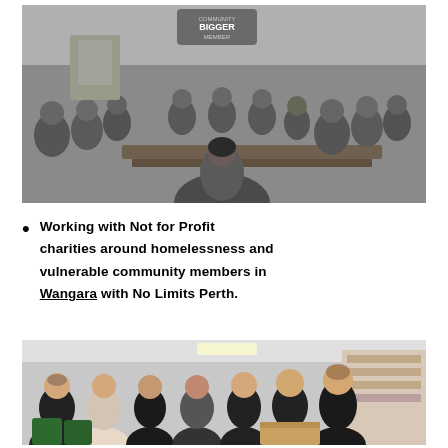[Figure (photo): Black and white photo of a large group of people gathered in a community hall or supermarket space around tables, with a speaker addressing the crowd from the foreground.]
Working with Not for Profit charities around homelessness and vulnerable community members in Wangara with No Limits Perth.
[Figure (photo): Colour photo of a group of seven people in black uniforms posing and smiling in what appears to be a store room or charity shop, holding bags and boxes.]